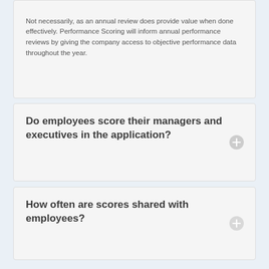Not necessarily, as an annual review does provide value when done effectively. Performance Scoring will inform annual performance reviews by giving the company access to objective performance data throughout the year.
Do employees score their managers and executives in the application?
How often are scores shared with employees?